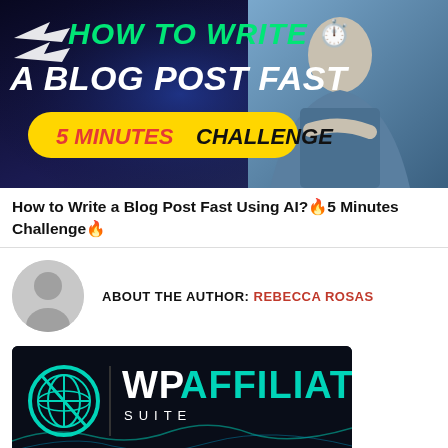[Figure (illustration): Promotional banner for 'How to Write a Blog Post Fast Using AI? 5 Minutes Challenge' with dark blue background, green italic title text, yellow badge, stopwatch icon, and man posing with crossed arms on the right side]
How to Write a Blog Post Fast Using AI?🔥5 Minutes Challenge🔥
ABOUT THE AUTHOR: REBECCA ROSAS
[Figure (logo): WP Affiliate Suite logo on dark background with teal circular icon on the left and 'WPAFFILIATE SUITE' text in white and teal colors]